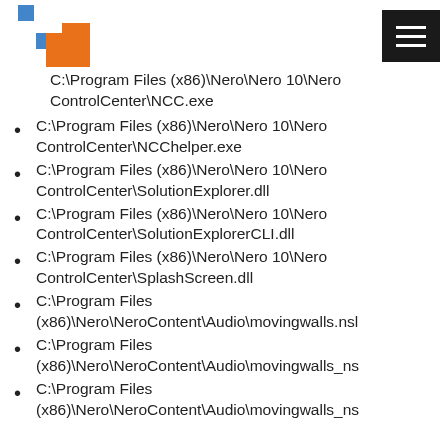[Logo] [Menu icon]
C:\Program Files (x86)\Nero\Nero 10\Nero ControlCenter\NCC.exe
C:\Program Files (x86)\Nero\Nero 10\Nero ControlCenter\NCChelper.exe
C:\Program Files (x86)\Nero\Nero 10\Nero ControlCenter\SolutionExplorer.dll
C:\Program Files (x86)\Nero\Nero 10\Nero ControlCenter\SolutionExplorerCLI.dll
C:\Program Files (x86)\Nero\Nero 10\Nero ControlCenter\SplashScreen.dll
C:\Program Files (x86)\Nero\NeroContent\Audio\movingwalls.nsl
C:\Program Files (x86)\Nero\NeroContent\Audio\movingwalls_ns
C:\Program Files (x86)\Nero\NeroContent\Audio\movingwalls_ns